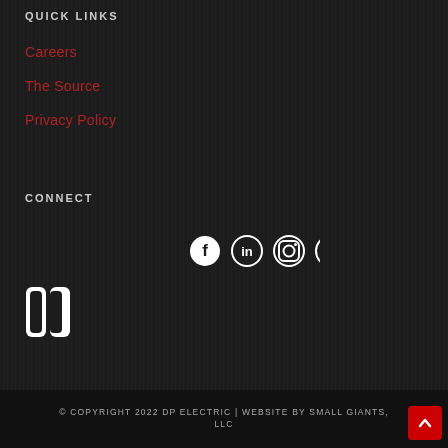QUICK LINKS
Careers
The Source
Privacy Policy
CONNECT
[Figure (illustration): Social media icons: Facebook, LinkedIn, Instagram, YouTube]
[Figure (logo): DP Electric logo - white square bracket style icon]
© COPYRIGHT 2022 DP ELECTRIC | WEBSITE BY SMALL GIANTS, LLC